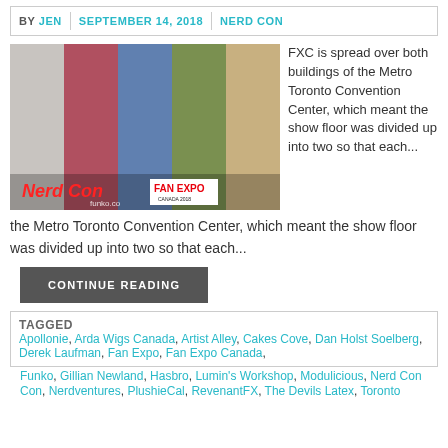BY JEN | SEPTEMBER 14, 2018 | NERD CON
[Figure (photo): Collage of Fan Expo Canada 2018 photos including cakes, anime art, a person in blue apron, Ninja Turtle costume, and plush toys. Overlay text reads 'Nerd Con FAN EXPO CANADA 2018']
FXC is spread over both buildings of the Metro Toronto Convention Center, which meant the show floor was divided up into two so that each...
CONTINUE READING
TAGGED Apollonie, Arda Wigs Canada, Artist Alley, Cakes Cove, Dan Holst Soelberg, Derek Laufman, Fan Expo, Fan Expo Canada, Funko, Gillian Newland, Hasbro, Lumin's Workshop, Modulicious, Nerd Con, Nerdventures, PlushieCal, RevenantFX, The Devils Latex, Toronto